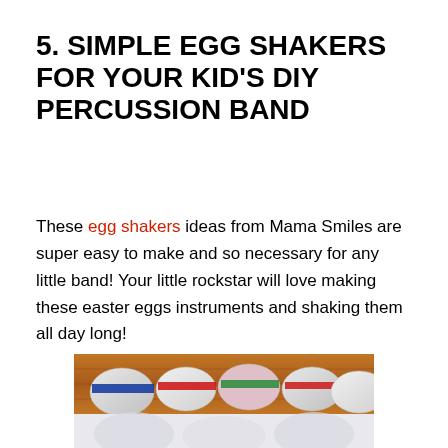5. SIMPLE EGG SHAKERS FOR YOUR KID'S DIY PERCUSSION BAND
These egg shakers ideas from Mama Smiles are super easy to make and so necessary for any little band! Your little rockstar will love making these easter eggs instruments and shaking them all day long!
[Figure (photo): Photo of colorful plastic Easter egg shakers with decorative tape bands on a wooden floor surface, with additional plain plastic eggs in foreground]